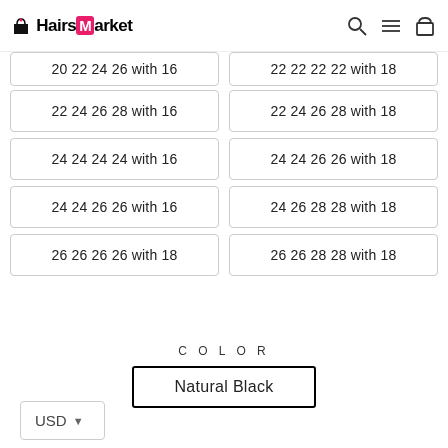HairsMarket
20 22 24 26 with 16
22 22 22 22 with 18
22 24 26 28 with 16
22 24 26 28 with 18
24 24 24 24 with 16
24 24 26 26 with 18
24 24 26 26 with 16
24 26 28 28 with 18
26 26 26 26 with 18
26 26 28 28 with 18
COLOR
Natural Black
USD